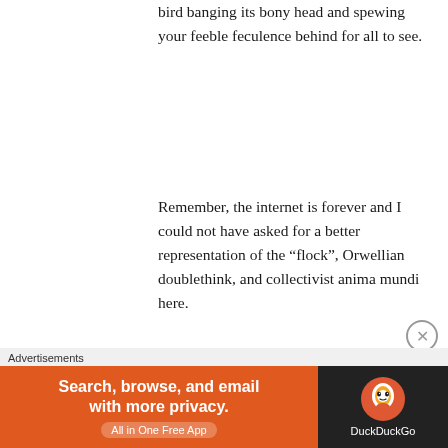bird banging its bony head and spewing your feeble feculence behind for all to see.
Remember, the internet is forever and I could not have asked for a better representation of the “flock”, Orwellian doublethink, and collectivist anima mundi here.
To be sure, there is a black hole deep in the heart of any good progressive that seeks to be filled with good intentions and dreams of utopia. Because of an overwhelming sense of
Advertisements
[Figure (other): DuckDuckGo advertisement banner: orange left panel with text 'Search, browse, and email with more privacy. All in One Free App' and dark right panel with DuckDuckGo duck logo and brand name.]